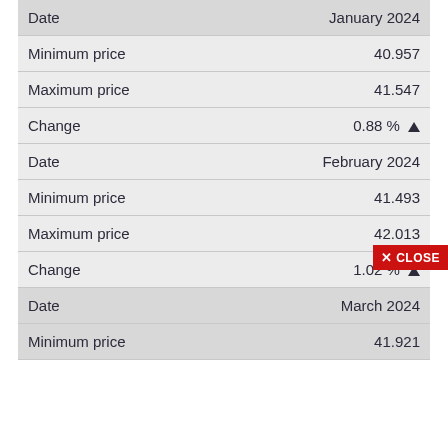|  |  |
| --- | --- |
| Date | January 2024 |
| Minimum price | 40.957 |
| Maximum price | 41.547 |
| Change | 0.88 % ▲ |
| Date | February 2024 |
| Minimum price | 41.493 |
| Maximum price | 42.013 |
| Change | 1.02 % ▲ |
| Date | March 2024 |
| Minimum price | 41.921 |